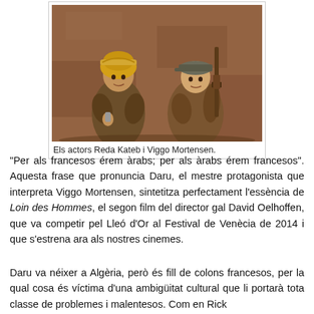[Figure (photo): Two actors crouching against a reddish-brown stone wall. The left figure wears a golden turban and earthy clothing, holding something small. The right figure wears a cap and brown jacket, holding a rifle.]
Els actors Reda Kateb i Viggo Mortensen.
“Per als francesos érem àrabs; per als àrabs érem francesos”. Aquesta frase que pronuncia Daru, el mestre protagonista que interpreta Viggo Mortensen, sintetitza perfectament l’essència de Loin des Hommes, el segon film del director gal David Oelhoffen, que va competir pel Lleó d’Or al Festival de Venècia de 2014 i que s’estrena ara als nostres cinemes.
Daru va néixer a Algèria, però és fill de colons francesos, per la qual cosa és víctima d’una ambigüitat cultural que li portarà tota classe de problemes i malentesos. Com en Rick